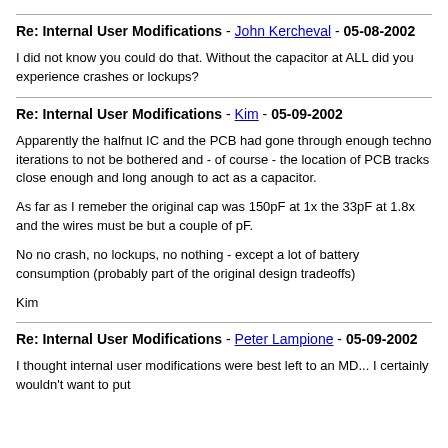Re: Internal User Modifications - John Kercheval - 05-08-2002
I did not know you could do that. Without the capacitor at ALL did you experience crashes or lockups?
Re: Internal User Modifications - Kim - 05-09-2002
Apparently the halfnut IC and the PCB had gone through enough techno iterations to not be bothered and - of course - the location of PCB tracks close enough and long anough to act as a capacitor.

As far as I remeber the original cap was 150pF at 1x the 33pF at 1.8x and the wires must be but a couple of pF.

No no crash, no lockups, no nothing - except a lot of battery consumption (probably part of the original design tradeoffs)

Kim
Re: Internal User Modifications - Peter Lampione - 05-09-2002
I thought internal user modifications were best left to an MD... I certainly wouldn't want to put